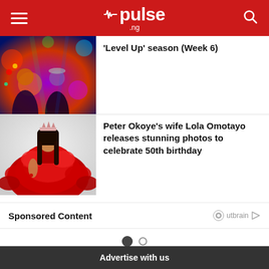pulse.ng
'Level Up' season (Week 6)
[Figure (photo): Two women at a colorful party/nightclub scene with vibrant lighting]
[Figure (photo): Woman in a large red ruffled dress wearing a crown/tiara]
Peter Okoye's wife Lola Omotayo releases stunning photos to celebrate 50th birthday
Sponsored Content
Outbrain
Advertise with us